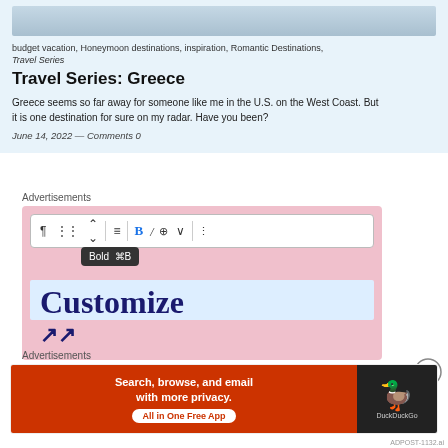[Figure (photo): Partial photo strip at top of a travel blog card]
budget vacation, Honeymoon destinations, inspiration, Romantic Destinations, Travel Series
Travel Series: Greece
Greece seems so far away for someone like me in the U.S. on the West Coast. But it is one destination for sure on my radar. Have you been?
June 14, 2022 — Comments 0
Advertisements
[Figure (screenshot): Screenshot of a website editor interface showing a toolbar with bold, italic, link options, a tooltip saying 'Bold ⌘B', and large bold navy text reading 'Customize' on a light blue background, all within a pink advertisement block]
Advertisements
[Figure (screenshot): DuckDuckGo advertisement banner: orange-red left side with text 'Search, browse, and email with more privacy. All in One Free App' and dark right side with DuckDuckGo duck logo]